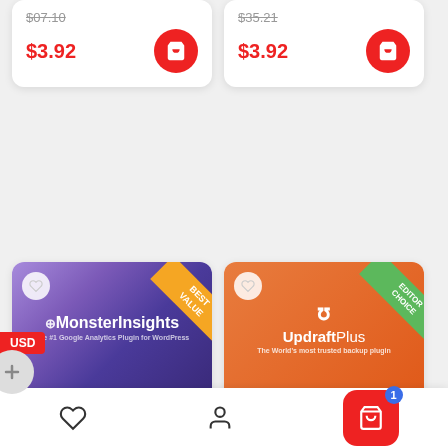[Figure (screenshot): Product card top-left (partially visible): original price $07.10 strikethrough, sale price $3.92 in red, red cart button]
[Figure (screenshot): Product card top-right (partially visible): original price $35.21 strikethrough, sale price $3.92 in red, red cart button]
USD
[Figure (screenshot): MonsterInsights plugin card with BEST VALUE ribbon, purple gradient image showing MonsterInsights branding, PLUGINS label, title MonsterInsights Pro + Addons v8.5.0 Download, original price $99.62]
PLUGINS
MonsterInsights Pro + Addons v8.5.0 Download
$99.62
[Figure (screenshot): UpdraftPlus plugin card with EDITOR CHOICE ribbon, orange image showing UpdraftPlus logo, PLUGINS label, title UpdraftPlus – Premium Backup Plugin For..., original price $190.92]
PLUGINS
UpdraftPlus – Premium Backup Plugin For...
$190.92